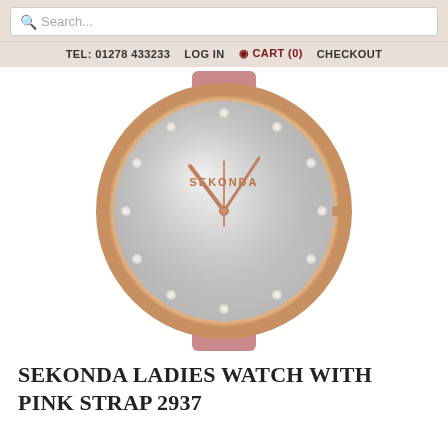Search...  TEL: 01278 433233  LOG IN  CART (0)  CHECKOUT
[Figure (photo): Sekonda ladies watch with rose gold case and pink leather strap. The watch dial is silver/brushed with crystal hour markers and rose gold hands. The brand name SEKONDA appears on the dial. The watch is photographed on a white background.]
SEKONDA LADIES WATCH WITH PINK STRAP 2937